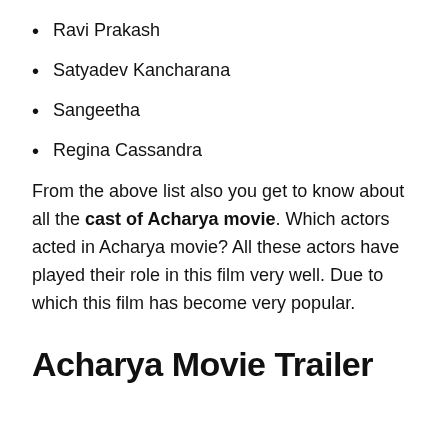Ravi Prakash
Satyadev Kancharana
Sangeetha
Regina Cassandra
From the above list also you get to know about all the cast of Acharya movie. Which actors acted in Acharya movie? All these actors have played their role in this film very well. Due to which this film has become very popular.
Acharya Movie Trailer